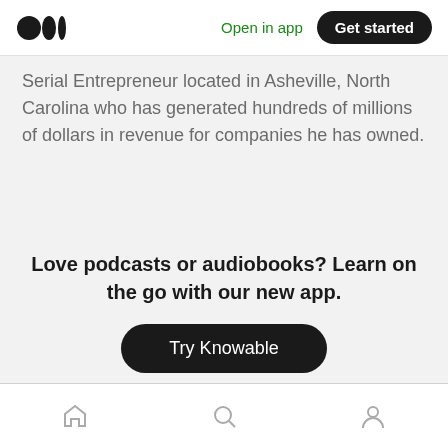Medium logo | Open in app | Get started
Serial Entrepreneur located in Asheville, North Carolina who has generated hundreds of millions of dollars in revenue for companies he has owned.
Love podcasts or audiobooks? Learn on the go with our new app.
Try Knowable